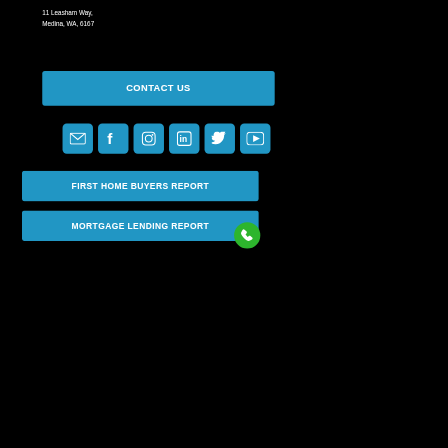11 Leasham Way,
Medina, WA, 6167
CONTACT US
[Figure (infographic): Row of 6 social media icon buttons: email, Facebook, Instagram, LinkedIn, Twitter, YouTube]
FIRST HOME BUYERS REPORT
MORTGAGE LENDING REPORT